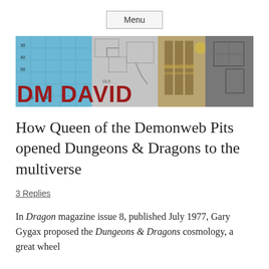Menu
[Figure (illustration): DM David website banner showing dungeon map segments in blue, gray, tan, and dark sections with the text 'DM DAVID' in large red letters at the bottom left]
How Queen of the Demonweb Pits opened Dungeons & Dragons to the multiverse
3 Replies
In Dragon magazine issue 8, published July 1977, Gary Gygax proposed the Dungeons & Dragons cosmology, a great wheel